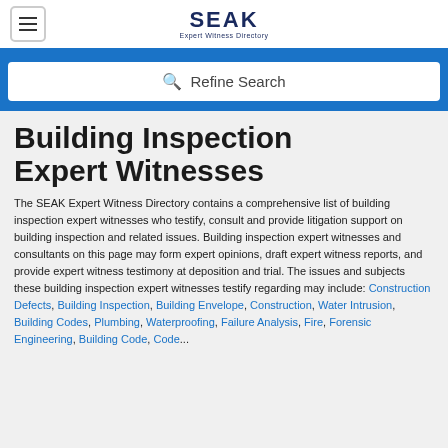[Figure (logo): SEAK Expert Witness Directory logo with hamburger menu icon on the left]
🔍 Refine Search
Building Inspection Expert Witnesses
The SEAK Expert Witness Directory contains a comprehensive list of building inspection expert witnesses who testify, consult and provide litigation support on building inspection and related issues. Building inspection expert witnesses and consultants on this page may form expert opinions, draft expert witness reports, and provide expert witness testimony at deposition and trial. The issues and subjects these building inspection expert witnesses testify regarding may include: Construction Defects, Building Inspection, Building Envelope, Construction, Water Intrusion, Building Codes, Plumbing, Waterproofing, Failure Analysis, Fire, Forensic Engineering, Building Code, Code...